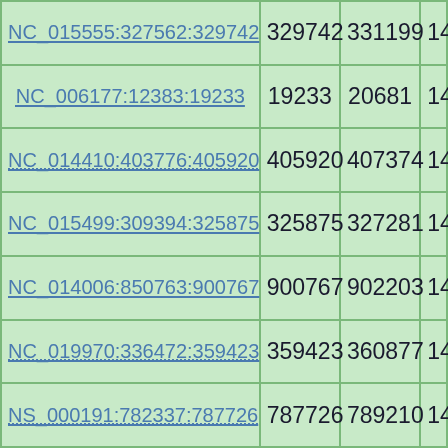| Sequence ID | Col2 | Col3 | Col4 |
| --- | --- | --- | --- |
| NC_015555:327562:329742 | 329742 | 331199 | 14… |
| NC_006177:12383:19233 | 19233 | 20681 | 14… |
| NC_014410:403776:405920 | 405920 | 407374 | 14… |
| NC_015499:309394:325875 | 325875 | 327281 | 14… |
| NC_014006:850763:900767 | 900767 | 902203 | 14… |
| NC_019970:336472:359423 | 359423 | 360877 | 14… |
| NS_000191:782337:787726 | 787726 | 789210 | 14… |